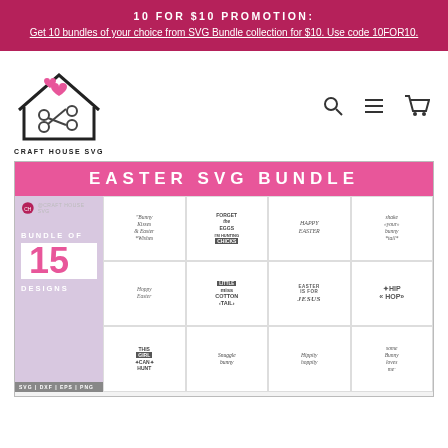10 FOR $10 PROMOTION: Get 10 bundles of your choice from SVG Bundle collection for $10. Use code 10FOR10.
[Figure (logo): Craft House SVG logo with scissors and house outline, with hearts]
[Figure (infographic): Easter SVG Bundle product image showing a bundle of 15 designs including Bunny Kisses & Easter Wishes, Forget the Eggs I'm Hunting Chicks, Happy Easter, Shake Your Bunny Tail, Hoppy Easter, Little Miss Cotton Tail, Easter is for Jesus, Hip Hop, This Girl Can Hunt, Snuggle Bunny, Hippity Hoppity, Some Bunny Loves Me. SVG | DXF | EPS | PNG formats.]